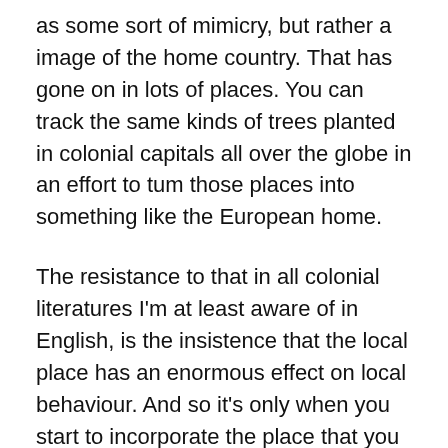as some sort of mimicry, but rather a image of the home country. That has gone on in lots of places. You can track the same kinds of trees planted in colonial capitals all over the globe in an effort to tum those places into something like the European home.
The resistance to that in all colonial literatures I'm at least aware of in English, is the insistence that the local place has an enormous effect on local behaviour. And so it's only when you start to incorporate the place that you develop something distinct in a country's literature.
[This is] what happened with Melville and Moby Dick – obviously the Pacific Ocean is not the